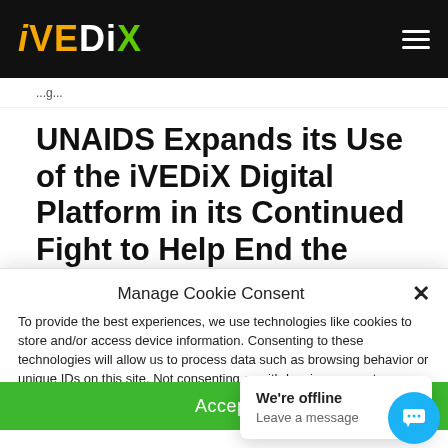iVEDiX
...g...
UNAIDS Expands its Use of the iVEDiX Digital Platform in its Continued Fight to Help End the
Manage Cookie Consent
To provide the best experiences, we use technologies like cookies to store and/or access device information. Consenting to these technologies will allow us to process data such as browsing behavior or unique IDs on this site. Not consenting or withdrawing consent, may adversely affect certain features and functions.
Accept
We're offline
Leave a message